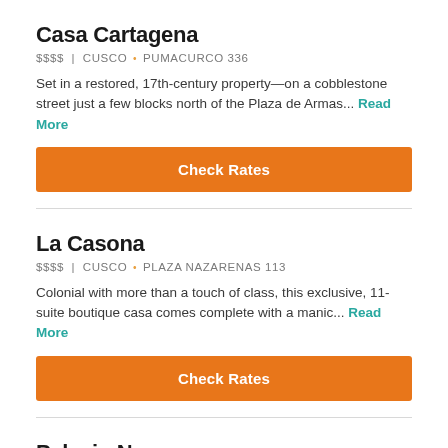Casa Cartagena
$$$$ | CUSCO • PUMACURCO 336
Set in a restored, 17th-century property—on a cobblestone street just a few blocks north of the Plaza de Armas... Read More
Check Rates
La Casona
$$$$ | CUSCO • PLAZA NAZARENAS 113
Colonial with more than a touch of class, this exclusive, 11-suite boutique casa comes complete with a manic... Read More
Check Rates
Palacio Nazarenas
$$$$ | CUSCO • PLAZA NAZARENAS 144
A former palace and convent dating from the 18th century, Palacio